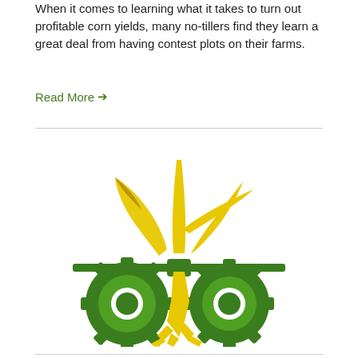When it comes to learning what it takes to turn out profitable corn yields, many no-tillers find they learn a great deal from having contest plots on their farms.
Read More →
[Figure (logo): No-till farming logo featuring a yellow plant/seedling with two green spoked gear/wheel shapes below a horizontal green bar, with yellow debris beneath, on a white background.]